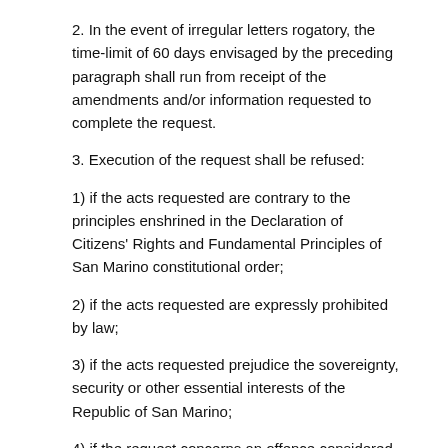2. In the event of irregular letters rogatory, the time-limit of 60 days envisaged by the preceding paragraph shall run from receipt of the amendments and/or information requested to complete the request.
3. Execution of the request shall be refused:
1) if the acts requested are contrary to the principles enshrined in the Declaration of Citizens' Rights and Fundamental Principles of San Marino constitutional order;
2) if the acts requested are expressly prohibited by law;
3) if the acts requested prejudice the sovereignty, security or other essential interests of the Republic of San Marino;
4) if the request concerns an offence considered a political offence or an offence connected with a political offence in the Republic of San Marino;